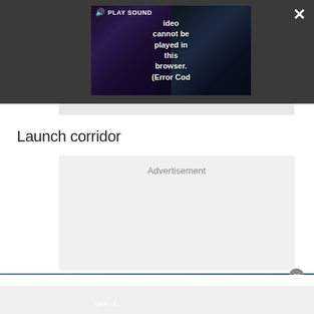[Figure (screenshot): Video player overlay on dark gray background showing a space/astronomy video that cannot be played. The player shows a 'PLAY SOUND' button with speaker icon, and an error message 'Video cannot be played in this browser. (Error Cod'. Space.com logo visible at bottom left of video. Close button (X) at top right and expand arrows at bottom right of the dark overlay.]
Launch corridor
[Figure (screenshot): Advertisement placeholder box with light gray background and 'Advertisement' label at top center.]